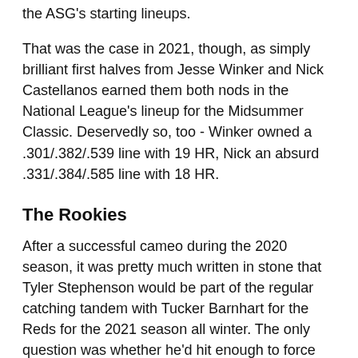the ASG's starting lineups.
That was the case in 2021, though, as simply brilliant first halves from Jesse Winker and Nick Castellanos earned them both nods in the National League's lineup for the Midsummer Classic. Deservedly so, too - Winker owned a .301/.382/.539 line with 19 HR, Nick an absurd .331/.384/.585 line with 18 HR.
The Rookies
After a successful cameo during the 2020 season, it was pretty much written in stone that Tyler Stephenson would be part of the regular catching tandem with Tucker Barnhart for the Reds for the 2021 season all winter. The only question was whether he'd hit enough to force his way into the lineup more often than not.